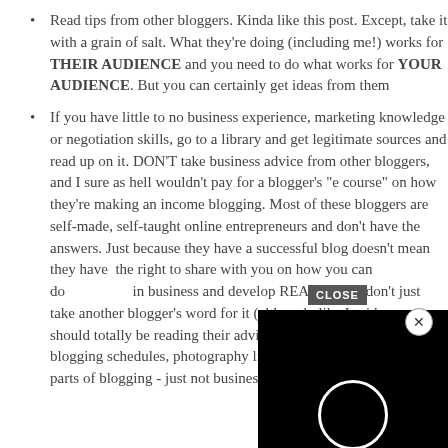Read tips from other bloggers. Kinda like this post. Except, take it with a grain of salt. What they're doing (including me!) works for THEIR AUDIENCE and you need to do what works for YOUR AUDIENCE. But you can certainly get ideas from them
If you have little to no business experience, marketing knowledge or negotiation skills, go to a library and get legitimate sources and read up on it. DON'T take business advice from other bloggers, and I sure as hell wouldn't pay for a blogger's "e course" on how they're making an income blogging. Most of these bloggers are self-made, self-taught online entrepreneurs and don't have the answers. Just because they have a successful blog doesn't mean they have the right to charge you with how you can do the same. Invest in business and develop REAL skills - don't just take another blogger's word for it (although, like I said, you should totally be reading their advice on social media tips, blogging schedules, photography lighting and all the other fluffy parts of blogging - just not business.
[Figure (screenshot): Black video player overlay with a white loading/play circle in the center, with a close button (X in circle) in the top-right corner and a CLOSE button label.]